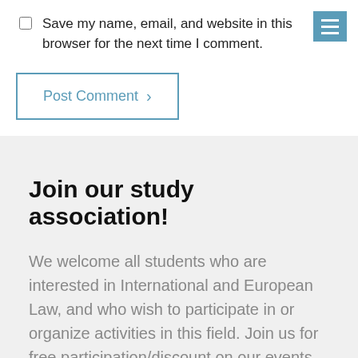Save my name, email, and website in this browser for the next time I comment.
Post Comment  >
Join our study association!
We welcome all students who are interested in International and European Law, and who wish to participate in or organize activities in this field. Join us for free participation/discount on our events, be a volunteer, Social European...